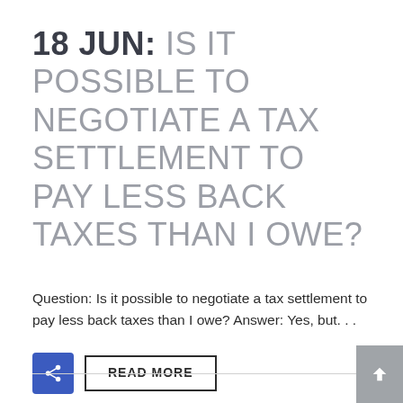18 JUN: IS IT POSSIBLE TO NEGOTIATE A TAX SETTLEMENT TO PAY LESS BACK TAXES THAN I OWE?
Question: Is it possible to negotiate a tax settlement to pay less back taxes than I owe? Answer: Yes, but…